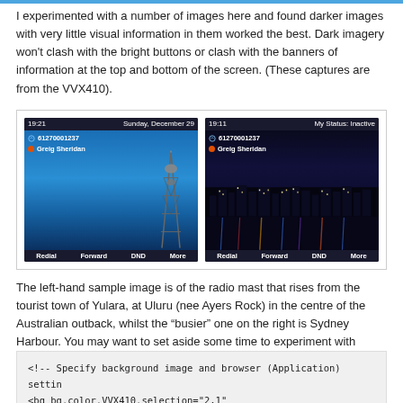I experimented with a number of images here and found darker images with very little visual information in them worked the best. Dark imagery won't clash with the bright buttons or clash with the banners of information at the top and bottom of the screen. (These captures are from the VVX410).
[Figure (screenshot): Two side-by-side VVX410 phone screen captures. Left screen shows time 19:21, Sunday December 29, number 61270001237, contact Greig Sheridan, with a radio tower background image, and bottom buttons Redial Forward DND More. Right screen shows time 19:11, My Status: Inactive, number 61270001237, contact Greig Sheridan, with a Sydney Harbour night cityscape background, and bottom buttons Redial Forward DND More.]
The left-hand sample image is of the radio mast that rises from the tourist town of Yulara, at Uluru (nee Ayers Rock) in the centre of the Australian outback, whilst the “busier” one on the right is Sydney Harbour. You may want to set aside some time to experiment with imagery that’s going to work well here. Or if in doubt, go vanilla and leave it out.
<!-- Specify background image and browser (Application) settin
<bg bg.color.VVX410.selection="2,1" bg.color.VVX500.selection=